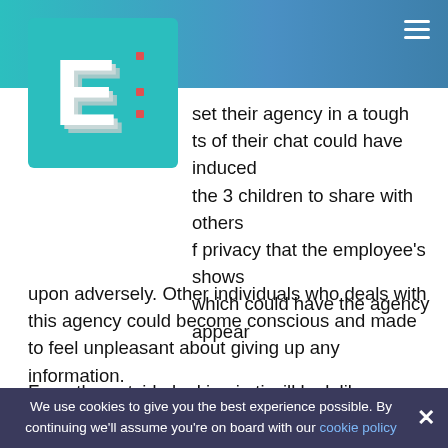[Figure (logo): 3D letter E logo on teal background]
set their agency in a tough ts of their chat could have induced the 3 children to share with others f privacy that the employee's shows which could have the agency appear upon adversely. Other individuals who deals with this agency could become conscious and made to feel unpleasant about giving up any information.
From the outside looking in ti will look like any information received by the JSBMHA is at risk of not being completely secured, at that point trust between two celebrations has been sacrificed. The activities that should be used should be to hang the two individuals, their activities were an immediate violation in the code
We use cookies to give you the best experience possible. By continuing we'll assume you're on board with our cookie policy